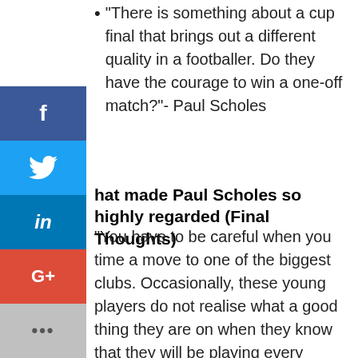“There is something about a cup final that brings out a different quality in a footballer. Do they have the courage to win a one-off match?”- Paul Scholes
What made Paul Scholes so highly regarded (Final Thoughts)
“You have to be careful when you time a move to one of the biggest clubs. Occasionally, these young players do not realise what a good thing they are on when they know that they will be playing every week.”- Paul Scholes
“Our modern coaching culture is not to put too much pressure on any one performance, to let an individual flourish over time.”- Paul Scholes
“All good players need to be appreciated.”- Paul Scholes